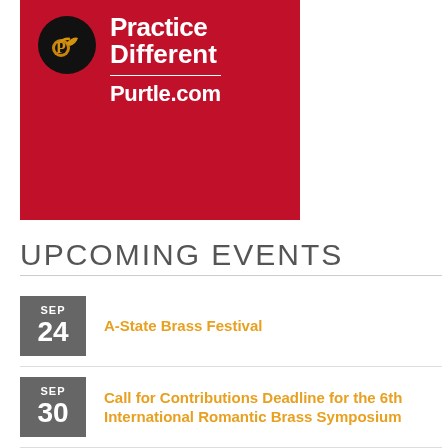[Figure (illustration): Red advertisement banner for Purtle.com with a black circle logo containing a golden trumpet/horn icon, bold white text reading 'Practice Different' with a horizontal divider and 'Purtle.com' below]
UPCOMING EVENTS
SEP 24 A-State Brass Festival
SEP 30 Call for Contributions Deadline for the 6th International Romantic Brass Symposium